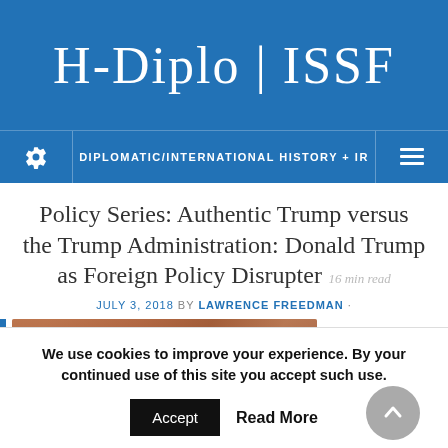H-Diplo | ISSF
DIPLOMATIC/INTERNATIONAL HISTORY + IR
Policy Series: Authentic Trump versus the Trump Administration: Donald Trump as Foreign Policy Disrupter  16 min read
JULY 3, 2018 BY LAWRENCE FREEDMAN ·
[Figure (photo): Photo of a person (partially cropped circular image) at a crowd event, alongside a large decorative letter D in black]
We use cookies to improve your experience. By your continued use of this site you accept such use.
Accept   Read More